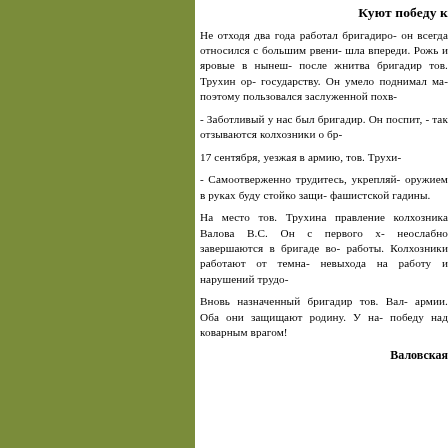[Figure (other): Solid olive-green rectangle panel on the left side of the page]
Куют победу к
Не отходя два года работал бригадиро- он всегда относился с большим рвени- шла впереди. Рожь и яровые в нынеш- после жнитва бригадир тов. Трухин ор- государству. Он умело поднимал ма- поэтому пользовался заслуженной похв-
- Заботливый у нас был бригадир. Он поспит, - так отзываются колхозники о бр-
17 сентября, уезжая в армию, тов. Трухи-
- Самоотверженно трудитесь, укрепляй- оружием в руках буду стойко защи- фашистской гадины.
На место тов. Трухина правление колхозника Валова В.С. Он с первого х- неослабно завершаются в бригаде во- работы. Колхозники работают от темна- невыхода на работу и нарушений трудо-
Вновь назначенный бригадир тов. Вал- армии. Оба они защищают родину. У на- победу над коварным врагом!
Валовская